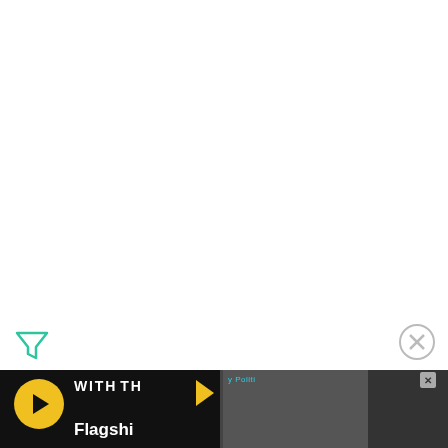[Figure (logo): Freestyle filter/funnel icon in teal/green color, top-left area]
[Figure (logo): Close (X) circle button icon, top-right area]
[Figure (infographic): Disney Bundle advertisement banner with Hulu, Disney+, ESPN+ logos and 'GET THE DISNEY BUNDLE' call-to-action button. Fine print: 'Incl. Hulu (ad-supported) or Hulu (No Ads). Access content from each service separately. ©2021 Disney and its related entities.']
[Figure (screenshot): Video thumbnail strip at bottom showing a yellow play button circle on dark background, partial text overlay ('Flagshi'), and a right panel showing a person with dark background.]